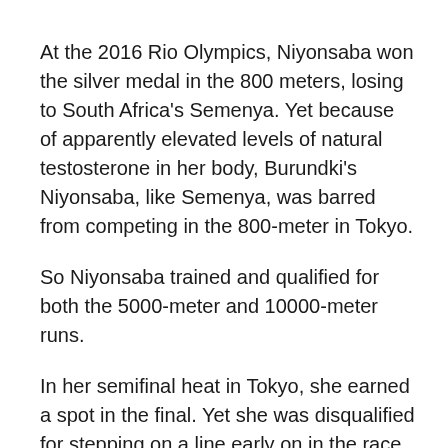At the 2016 Rio Olympics, Niyonsaba won the silver medal in the 800 meters, losing to South Africa's Semenya. Yet because of apparently elevated levels of natural testosterone in her body, Burundki's Niyonsaba, like Semenya, was barred from competing in the 800-meter in Tokyo.
So Niyonsaba trained and qualified for both the 5000-meter and 10000-meter runs.
In her semifinal heat in Tokyo, she earned a spot in the final. Yet she was disqualified for stepping on a line early on in the race. Despite the error giving her absolutely zero advantage in the race, her appeal was denied.